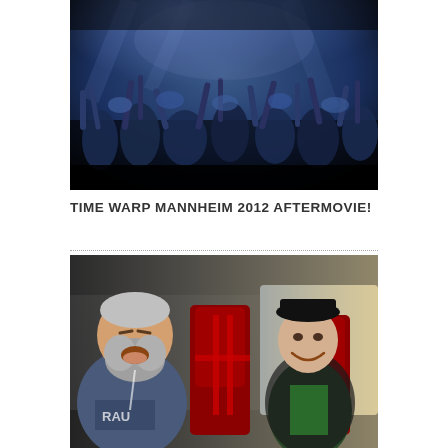[Figure (photo): Concert crowd photo with blue lighting, people with raised hands and arms in a large venue]
TIME WARP MANNHEIM 2012 AFTERMOVIE!
[Figure (photo): Two men laughing inside a car with red racing seats; one large bearded man in a blue t-shirt on the left, one thinner man in a green shirt and black hat on the right]